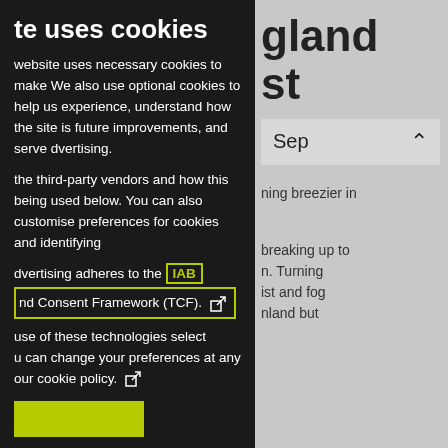te uses cookies
website uses necessary cookies to make We also use optional cookies to help us experience, understand how the site is future improvements, and serve dvertising.
the third-party vendors and how this being used below. You can also customise preferences for cookies and identifying
dvertising adheres to the IAB nd Consent Framework (TCF).
use of these technologies select u can change your preferences at any our cookie policy.
gland st
Sep
ning breezier in
breaking up to n. Turning ist and fog nland but